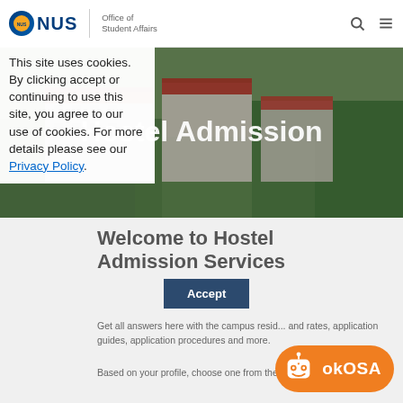NUS | Office of Student Affairs
[Figure (photo): Aerial view of NUS hostel buildings with red roofs surrounded by trees]
Hostel Admission
This site uses cookies. By clicking accept or continuing to use this site, you agree to our use of cookies. For more details please see our Privacy Policy.
Accept
Welcome to Hostel Admission Services
Get all answers here with the campus resid... and rates, application guides, application procedures and more.
Based on your profile, choose one from the three
[Figure (illustration): okOSA chatbot button - orange pill-shaped button with robot icon and okOSA text]